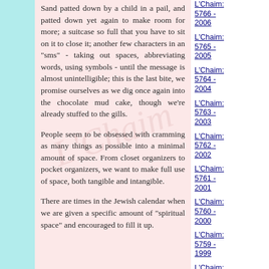Sand patted down by a child in a pail, and patted down yet again to make room for more; a suitcase so full that you have to sit on it to close it; another few characters in an "sms" - taking out spaces, abbreviating words, using symbols - until the message is almost unintelligible; this is the last bite, we promise ourselves as we dig once again into the chocolate mud cake, though we're already stuffed to the gills.

People seem to be obsessed with cramming as many things as possible into a minimal amount of space. From closet organizers to pocket organizers, we want to make full use of space, both tangible and intangible.

There are times in the Jewish calendar when we are given a specific amount of "spiritual space" and encouraged to fill it up.
L'Chaim: 5766 - 2006
L'Chaim: 5765 - 2005
L'Chaim: 5764 - 2004
L'Chaim: 5763 - 2003
L'Chaim: 5762 - 2002
L'Chaim: 5761 - 2001
L'Chaim: 5760 - 2000
L'Chaim: 5759 - 1999
L'Chaim: 5758 - 1998
L'Chaim: 5757 - 1997